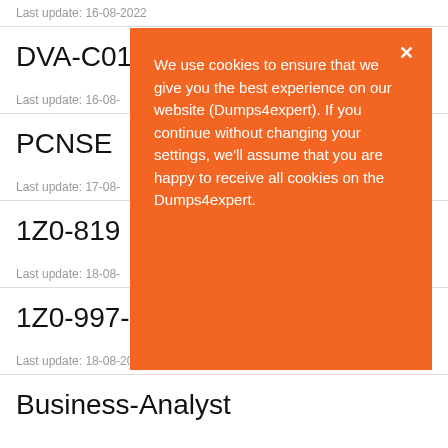Last update: 16-08-2022
DVA-C01
Last update: 16-08-
PCNSE
Last update: 17-08-
1Z0-819
Last update: 18-08-
1Z0-997-21
Last update: 18-08-2022
Business-Analyst
We use cookies to ensure that we give you the best experience on our website (Dumps4expert). If you continue without changing your settings, we'll assume that you are happy to receive all cookies on the Dumps4expert.